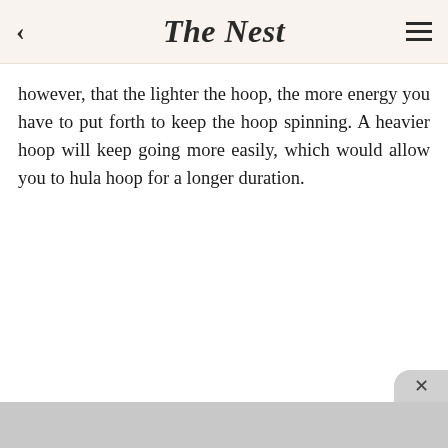The Nest
however, that the lighter the hoop, the more energy you have to put forth to keep the hoop spinning. A heavier hoop will keep going more easily, which would allow you to hula hoop for a longer duration.